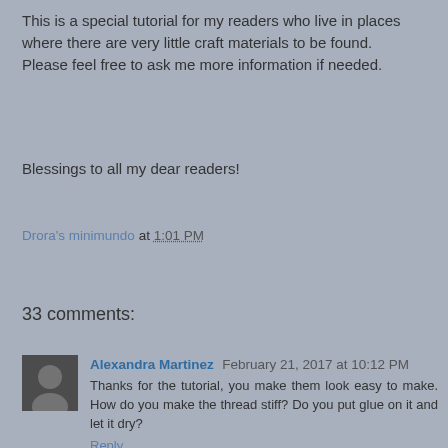This is a special tutorial for my readers who live in places where there are very little craft materials to be found.  Please feel free to ask me more information if needed.
Blessings to all my dear readers!
Drora's minimundo at 1:01 PM
Share
33 comments:
Alexandra Martinez February 21, 2017 at 10:12 PM
Thanks for the tutorial, you make them look easy to make. How do you make the thread stiff? Do you put glue on it and let it dry?
Reply